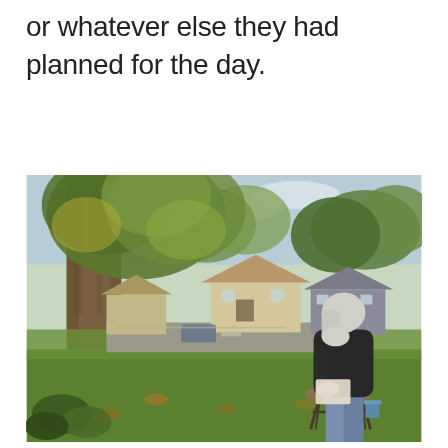or whatever else they had planned for the day.
[Figure (photo): An elderly man with long white hair and a beard sits on a folding stool outdoors, viewed from behind/side. He is wearing a dark jacket and jeans, sitting in a grassy area beside a large tree trunk. In the background are suburban houses, a street, and trees with green and yellow autumn foliage under a partly cloudy sky.]